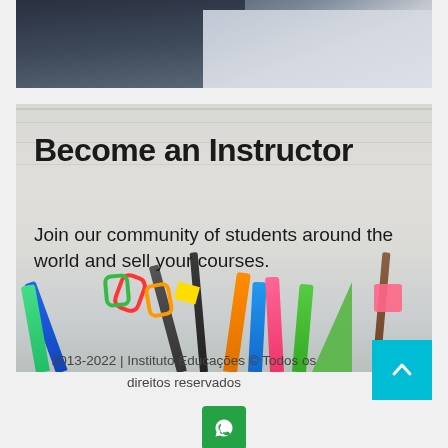[Figure (photo): Top cropped photo showing what appears to be a laptop or book on a surface, gray/blue tones]
[Figure (photo): Banner image with school/office supplies (markers, clips, pencils, ruler) on a white wood surface, with overlaid text 'Become an Instructor' and 'Join our community of students around the world and sell your courses.']
Become an Instructor
Join our community of students around the world and sell your courses.
2013-2022 | Instituto Educações © Todos os direitos reservados